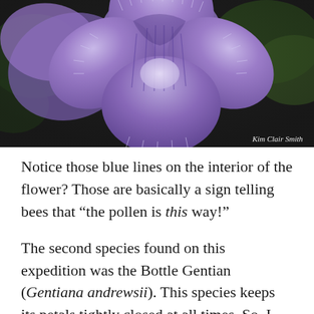[Figure (photo): Close-up photograph of a purple/blue fringed flower (fringed gentian) with white fringe-tipped petals against a dark green background. Photo credit: Kim Clair Smith.]
Notice those blue lines on the interior of the flower? Those are basically a sign telling bees that “the pollen is this way!”
The second species found on this expedition was the Bottle Gentian (Gentiana andrewsii). This species keeps its petals tightly closed at all times. So, I know you’re wondering how it can be